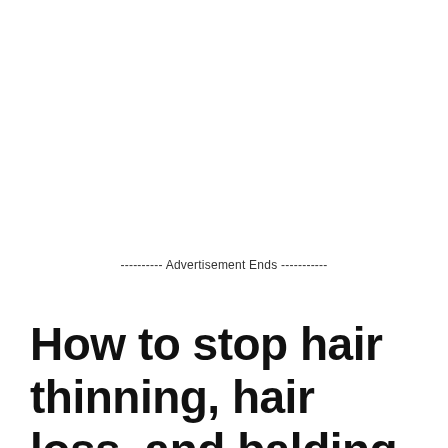---------- Advertisement Ends -----------
How to stop hair thinning, hair loss, and balding caused by